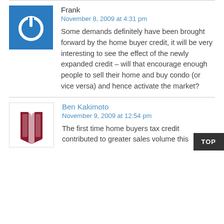[Figure (illustration): Blue square avatar with white power button icon]
Frank
November 8, 2009 at 4:31 pm
Some demands definitely have been brought forward by the home buyer credit, it will be very interesting to see the effect of the newly expanded credit – will that encourage enough people to sell their home and buy condo (or vice versa) and hence activate the market?
[Figure (logo): Red and white book/shield logo avatar for Ben Kakimoto]
Ben Kakimoto
November 9, 2009 at 12:54 pm
The first time home buyers tax credit contributed to greater sales volume this